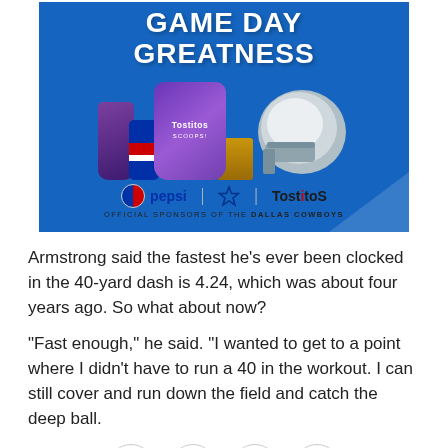[Figure (photo): Advertisement banner for Pepsi and Tostitos as official sponsors of the Dallas Cowboys. Blue background with 'GAME DAY GREATNESS' text, Tostitos Scoops bag, Pepsi cup and can, Cowboys football helmet, Pepsi and Tostitos logos with Cowboys star, tagline 'OFFICIAL SPONSORS OF THE DALLAS COWBOYS'.]
Armstrong said the fastest he's ever been clocked in the 40-yard dash is 4.24, which was about four years ago. So what about now?
"Fast enough," he said. "I wanted to get to a point where I didn't have to run a 40 in the workout. I can still cover and run down the field and catch the deep ball.